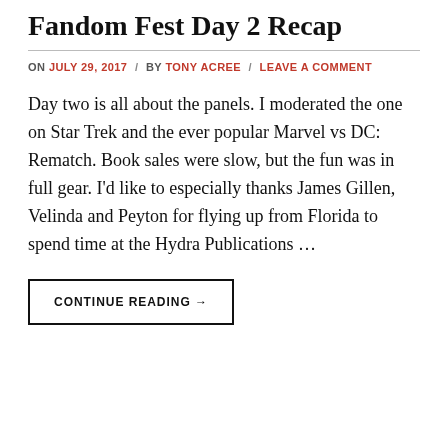Fandom Fest Day 2 Recap
ON JULY 29, 2017 / BY TONY ACREE / LEAVE A COMMENT
Day two is all about the panels. I moderated the one on Star Trek and the ever popular Marvel vs DC: Rematch. Book sales were slow, but the fun was in full gear. I'd like to especially thanks James Gillen, Velinda and Peyton for flying up from Florida to spend time at the Hydra Publications …
CONTINUE READING →